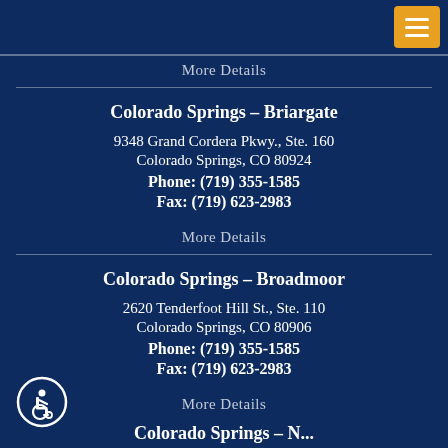More Details
Colorado Springs – Briargate
9348 Grand Cordera Pkwy., Ste. 160
Colorado Springs, CO 80924
Phone: (719) 355-1585
Fax: (719) 623-2983
More Details
Colorado Springs – Broadmoor
2620 Tenderfoot Hill St., Ste. 110
Colorado Springs, CO 80906
Phone: (719) 355-1585
Fax: (719) 623-2983
More Details
[Figure (illustration): Wheelchair accessibility icon — white figure in wheelchair inside a white circle outline on dark blue background]
Colorado Springs – ...